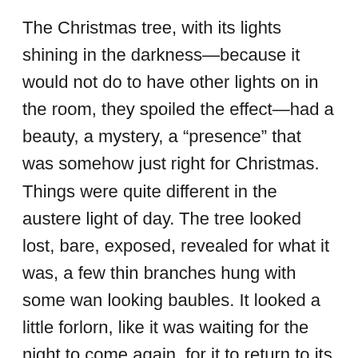The Christmas tree, with its lights shining in the darkness—because it would not do to have other lights on in the room, they spoiled the effect—had a beauty, a mystery, a “presence” that was somehow just right for Christmas. Things were quite different in the austere light of day. The tree looked lost, bare, exposed, revealed for what it was, a few thin branches hung with some wan looking baubles. It looked a little forlorn, like it was waiting for the night to come again, for it to return to its element, the atmosphere in which it “shines,” metaphorically as well as literally. Christmas, it seems to me, is made for what Dylan Thomas, at the end of A Child’s Christmas in Wales, calls “the close and holy darkness.” The story of the child born in a manger, and angels appearing to shepherds in their night-time fields, is a story to be told in the darkness, by candlelight, the way we did last night.